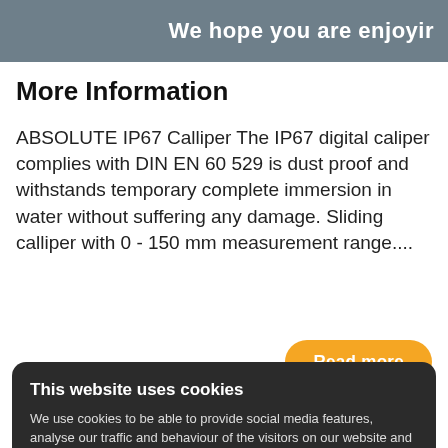We hope you are enjoyir
More Information
ABSOLUTE IP67 Calliper The IP67 digital caliper complies with DIN EN 60 529 is dust proof and withstands temporary complete immersion in water without suffering any damage. Sliding calliper with 0 - 150 mm measurement range....
Read more
This website uses cookies
We use cookies to be able to provide social media features, analyse our traffic and behaviour of the visitors on our website and for marketing purposes. Sometimes we share this anonymised information to 3rd party partner companies. More information
I accept all Cookies
Change settings